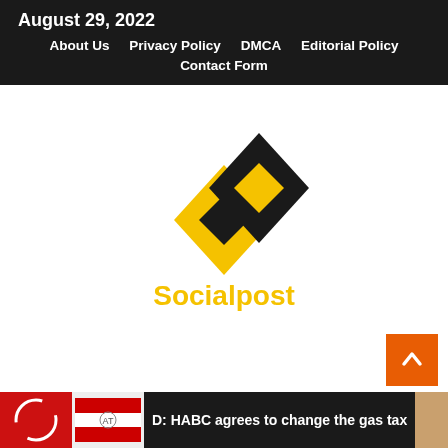August 29, 2022 | About Us | Privacy Policy | DMCA | Editorial Policy | Contact Form
[Figure (logo): Socialpost logo: two overlapping diamond shapes (yellow and black) forming an 'S' pattern, with the word 'Socialpost' in yellow below]
D: HABC agrees to change the gas tax